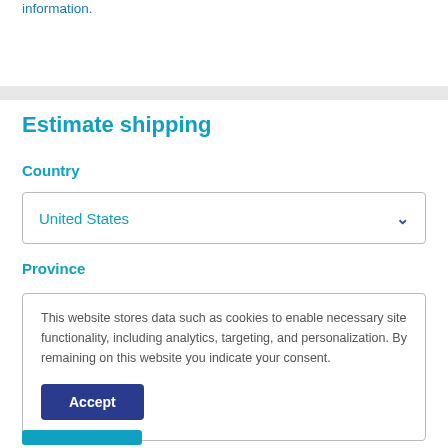information.
Estimate shipping
Country
United States
Province
This website stores data such as cookies to enable necessary site functionality, including analytics, targeting, and personalization. By remaining on this website you indicate your consent.
Accept